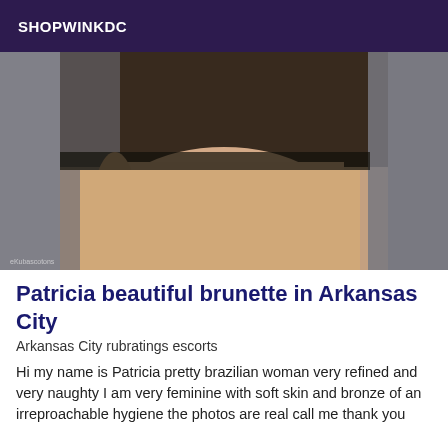SHOPWINKDC
[Figure (photo): A woman wearing a black lace top, photograph cropped showing torso and lower body, gray background.]
Patricia beautiful brunette in Arkansas City
Arkansas City rubratings escorts
Hi my name is Patricia pretty brazilian woman very refined and very naughty I am very feminine with soft skin and bronze of an irreproachable hygiene the photos are real call me thank you